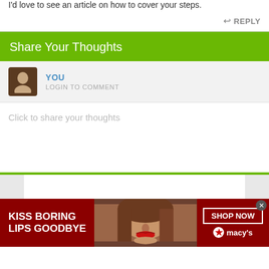I'd love to see an article on how to cover your steps.
↩ REPLY
Share Your Thoughts
YOU
LOGIN TO COMMENT
Click to share your thoughts
[Figure (screenshot): Advertisement banner: 'KISS BORING LIPS GOODBYE' with a woman's face with red lips, SHOP NOW button, and Macy's logo on dark red background]